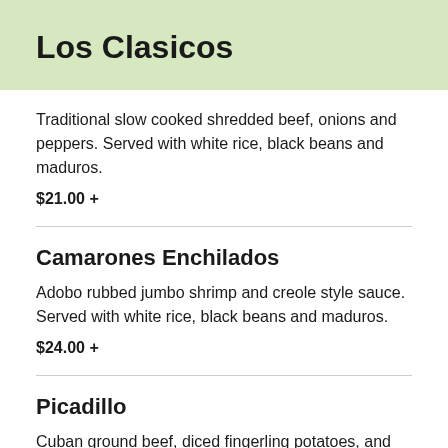Los Clasicos
Traditional slow cooked shredded beef, onions and peppers. Served with white rice, black beans and maduros.
$21.00 +
Camarones Enchilados
Adobo rubbed jumbo shrimp and creole style sauce. Served with white rice, black beans and maduros.
$24.00 +
Picadillo
Cuban ground beef, diced fingerling potatoes, and olives